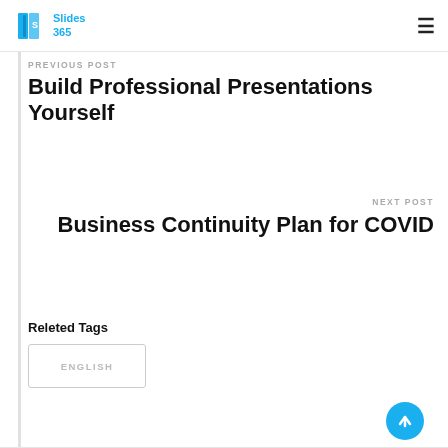Slides 365 logo and hamburger menu
PREVIOUS POST
Build Professional Presentations Yourself
NEXT POST
Business Continuity Plan for COVID
Releted Tags
ENGLISH